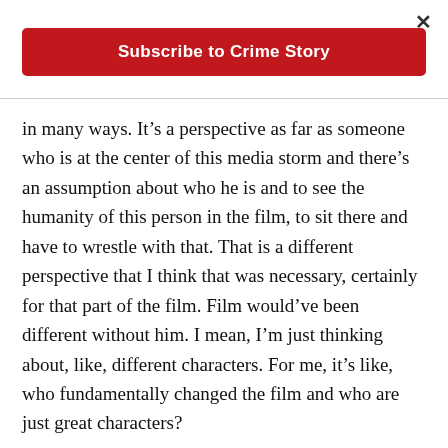×
Subscribe to Crime Story
in many ways. It's a perspective as far as someone who is at the center of this media storm and there's an assumption about who he is and to see the humanity of this person in the film, to sit there and have to wrestle with that. That is a different perspective that I think that was necessary, certainly for that part of the film. Film would've been different without him. I mean, I'm just thinking about, like, different characters. For me, it's like, who fundamentally changed the film and who are just great characters?